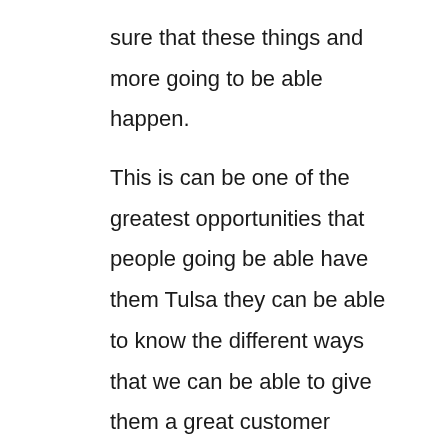sure that these things and more going to be able happen.

This is can be one of the greatest opportunities that people going be able have them Tulsa they can be able to know the different ways that we can be able to give them a great customer service and making sure that people going be able have a much more greater opportunity to be able to know exactly what you might be able to do for so that we can be able have a great way to be able to know exactly what you're going to be able help us up an, sing these things and more. This is going to be what we are all